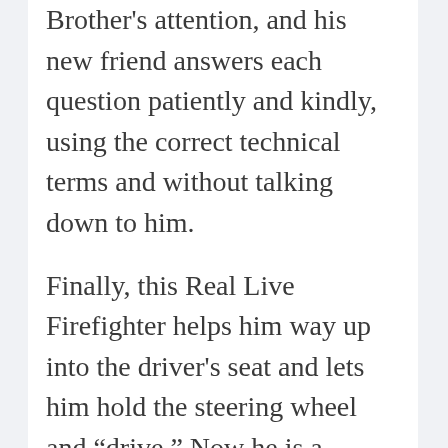Brother's attention, and his new friend answers each question patiently and kindly, using the correct technical terms and without talking down to him.
Finally, this Real Live Firefighter helps him way up into the driver’s seat and lets him hold the steering wheel and “drive.” Now he is a superhero firefighter, too!
The 2008 Ann Arbor Fire Department open house is at the downtown station on